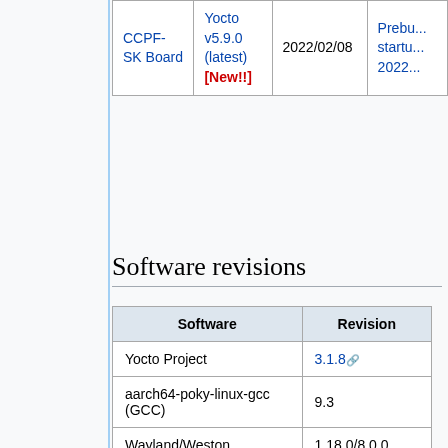|  |  |  |  |
| --- | --- | --- | --- |
| CCPF-SK Board | Yocto v5.9.0 (latest) [New!!] | 2022/02/08 | Prebu... startu... 2022... |
Software revisions
| Software | Revision |
| --- | --- |
| Yocto Project | 3.1.8 |
| aarch64-poky-linux-gcc (GCC) | 9.3 |
| Wayland/Weston | 1.18.0/8.0.0 |
| GStreamer | 1.16.3 |
| Kernel Ver | 5.10.41 |
| Userland 64/32bit | 64 |
| U-Boot | 2020.10 |